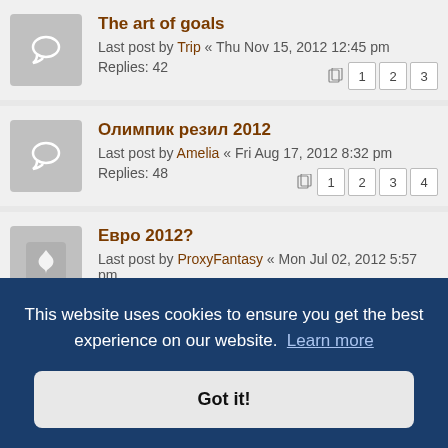The art of goals
Last post by Trip « Thu Nov 15, 2012 12:45 pm
Replies: 42
Pages: 1 2 3
Олимпик резил 2012
Last post by Amelia « Fri Aug 17, 2012 8:32 pm
Replies: 48
Pages: 1 2 3 4
Евро 2012?
Last post by ProxyFantasy « Mon Jul 02, 2012 5:57 pm
Replies: 82
Pages: 4 5 6
This website uses cookies to ensure you get the best experience on our website. Learn more
FF season 2012